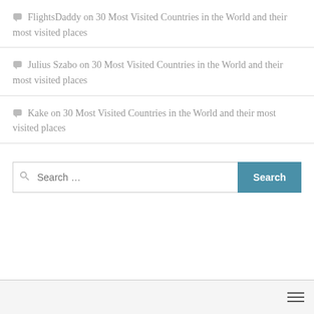FlightsDaddy on 30 Most Visited Countries in the World and their most visited places
Julius Szabo on 30 Most Visited Countries in the World and their most visited places
Kake on 30 Most Visited Countries in the World and their most visited places
Search ...